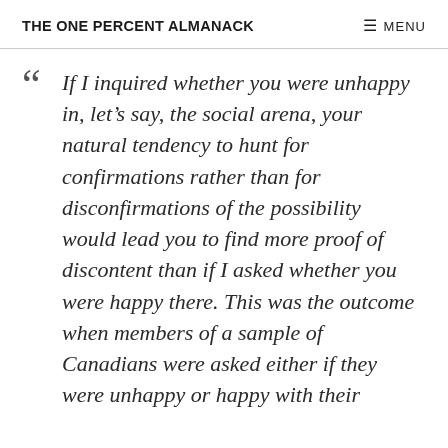THE ONE PERCENT ALMANACK  ☰ MENU
“ If I inquired whether you were unhappy in, let’s say, the social arena, your natural tendency to hunt for confirmations rather than for disconfirmations of the possibility would lead you to find more proof of discontent than if I asked whether you were happy there. This was the outcome when members of a sample of Canadians were asked either if they were unhappy or happy with their